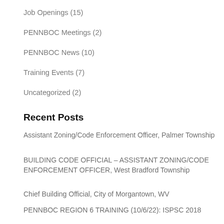Job Openings (15)
PENNBOC Meetings (2)
PENNBOC News (10)
Training Events (7)
Uncategorized (2)
Recent Posts
Assistant Zoning/Code Enforcement Officer, Palmer Township
BUILDING CODE OFFICIAL – ASSISTANT ZONING/CODE ENFORCEMENT OFFICER, West Bradford Township
Chief Building Official, City of Morgantown, WV
PENNBOC REGION 5 TRAINING (8/30/22): Solar Energy Systems, Hazard Recognition and Mitigation
PENNBOC REGION 6 TRAINING (10/6/22): ISPSC 2018